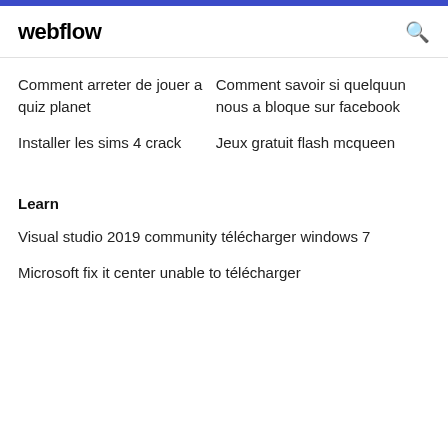webflow
Comment arreter de jouer a quiz planet
Comment savoir si quelquun nous a bloque sur facebook
Installer les sims 4 crack
Jeux gratuit flash mcqueen
Learn
Visual studio 2019 community télécharger windows 7
Microsoft fix it center unable to télécharger